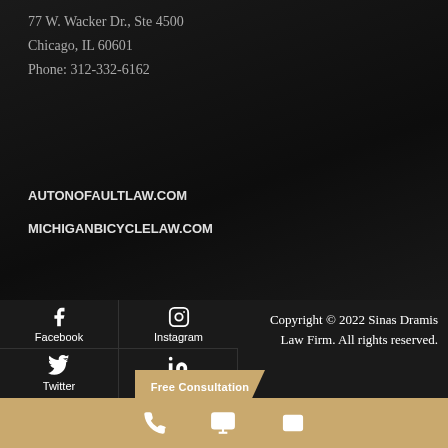77 W. Wacker Dr., Ste 4500
Chicago, IL 60601
Phone: 312-332-6162
AUTONOFAULTLAW.COM
MICHIGANBICYCLELAW.COM
Facebook | Instagram | Twitter | LinkedIn | Free Consultation | Copyright © 2022 Sinas Dramis Law Firm. All rights reserved.